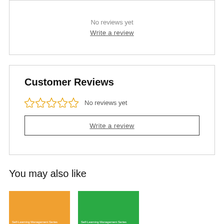No reviews yet
Write a review
Customer Reviews
No reviews yet
Write a review
You may also like
[Figure (other): Two product card thumbnails — one orange and one green — labeled 'Self-Learning Management Series']